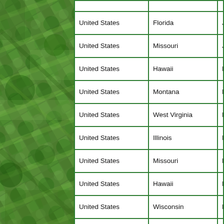[Figure (photo): Aerial satellite photo of agricultural fields with green circular irrigation patterns and patchwork crop layouts]
| Country | State | City |
| --- | --- | --- |
| United States | Florida | Jacksonville |
| United States | Missouri | Jefferson City |
| United States | Hawaii | Kailua-Kona |
| United States | Montana | Kalispell |
| United States | West Virginia | Kanawha City |
| United States | Illinois | Kankakee |
| United States | Missouri | Kansas City |
| United States | Hawaii | Kauai |
| United States | Wisconsin | Kenosha |
| United States | Florida | Key West |
| United States | Tennessee | Knoxville |
| United States | Wisconsin | La Crosse |
| United States | Oregon | La Grande |